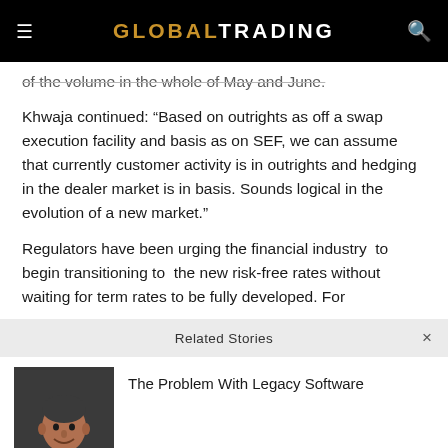GLOBALTRADING
of the volume in the whole of May and June.
Khwaja continued: “Based on outrights as off a swap execution facility and basis as on SEF, we can assume that currently customer activity is in outrights and hedging in the dealer market is in basis. Sounds logical in the evolution of a new market.”
Regulators have been urging the financial industry  to begin transitioning to  the new risk-free rates without waiting for term rates to be fully developed. For
Related Stories
[Figure (photo): Headshot of a man in a suit with an orange tie, smiling, against a dark background]
The Problem With Legacy Software